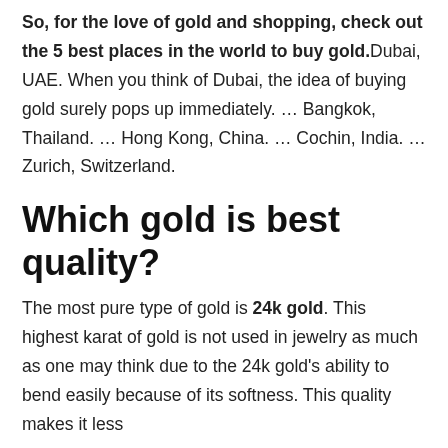So, for the love of gold and shopping, check out the 5 best places in the world to buy gold. Dubai, UAE. When you think of Dubai, the idea of buying gold surely pops up immediately. … Bangkok, Thailand. … Hong Kong, China. … Cochin, India. … Zurich, Switzerland.
Which gold is best quality?
The most pure type of gold is 24k gold. This highest karat of gold is not used in jewelry as much as one may think due to the 24k gold's ability to bend easily because of its softness. This quality makes it less